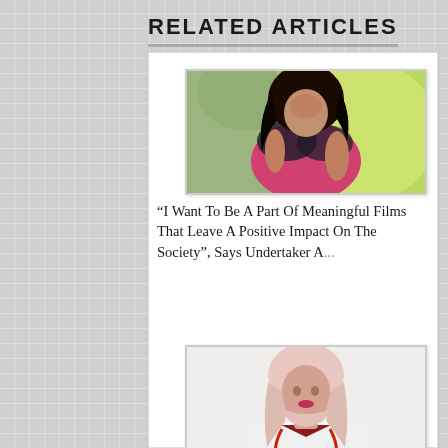RELATED ARTICLES
[Figure (photo): Photo of a woman with long dark hair wearing a colorful outfit, partially obscured, outdoors with green background]
“I Want To Be A Part Of Meaningful Films That Leave A Positive Impact On The Society”, Says Undertaker A...
[Figure (photo): Photo of a woman wearing a hijab and white doctor coat with red stethoscope]
Buy Bonfire Wood, Firewood Online At BigShopTree.com
August 29, 2022